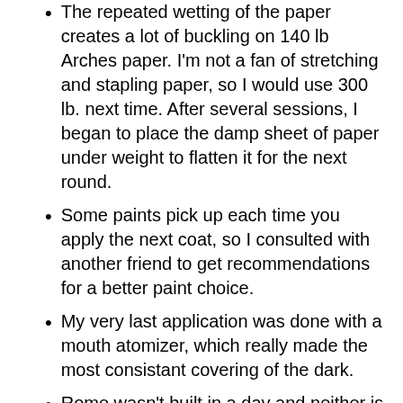The repeated wetting of the paper creates a lot of buckling on 140 lb Arches paper. I'm not a fan of stretching and stapling paper, so I would use 300 lb. next time. After several sessions, I began to place the damp sheet of paper under weight to flatten it for the next round.
Some paints pick up each time you apply the next coat, so I consulted with another friend to get recommendations for a better paint choice.
My very last application was done with a mouth atomizer, which really made the most consistant covering of the dark.
Rome wasn't built in a day and neither is an almost black background!
Even with the most careful masking and protecting of the paper, there will be some seepage which will need careful lifting.
Step two: In painting the rocks under the fish, I used many different colors, mostly wet into wet, and sprinkled salt to create texture. After the salt and colors were dry, I used a